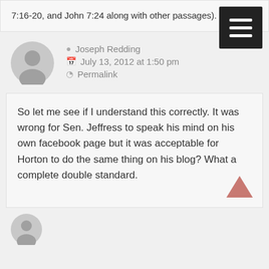7:16-20, and John 7:24 along with other passages).
Joseph Redding
July 13, 2012 at 1:50 pm
Permalink
So let me see if I understand this correctly. It was wrong for Sen. Jeffress to speak his mind on his own facebook page but it was acceptable for Horton to do the same thing on his blog? What a complete double standard.